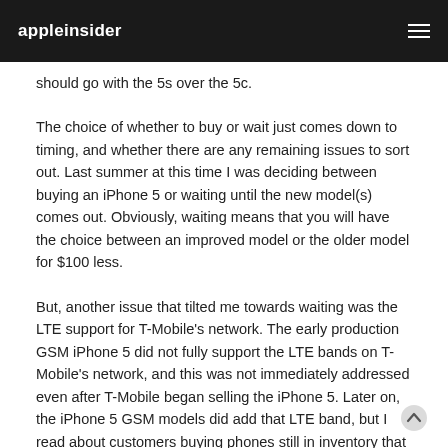appleinsider
should go with the 5s over the 5c.
The choice of whether to buy or wait just comes down to timing, and whether there are any remaining issues to sort out. Last summer at this time I was deciding between buying an iPhone 5 or waiting until the new model(s) comes out. Obviously, waiting means that you will have the choice between an improved model or the older model for $100 less.
But, another issue that tilted me towards waiting was the LTE support for T-Mobile's network. The early production GSM iPhone 5 did not fully support the LTE bands on T-Mobile's network, and this was not immediately addressed even after T-Mobile began selling the iPhone 5. Later on, the iPhone 5 GSM models did add that LTE band, but I read about customers buying phones still in inventory that did not fully support T-Mobile's LTE bands.